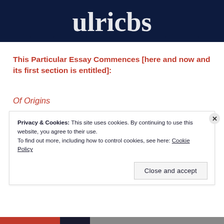[Figure (illustration): Dark navy banner with white stylized text/logo at top of page]
This Particular Essay Commences [here and now and its first section is entitled]:
Of Origins
Privacy & Cookies: This site uses cookies. By continuing to use this website, you agree to their use.
To find out more, including how to control cookies, see here: Cookie Policy
Close and accept